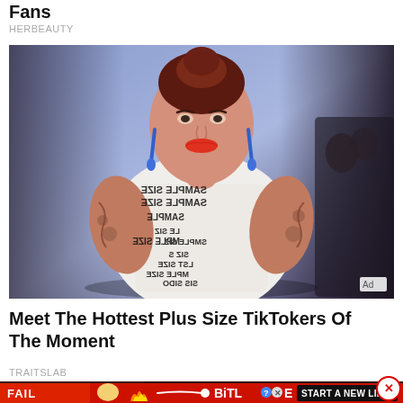Fans
HERBEAUTY
[Figure (photo): Plus-size model walking runway wearing white dress with 'SAMPLE SIZE' printed text, tattooed arms, red lipstick, blue earrings, purple-lit background with audience]
Meet The Hottest Plus Size TikTokers Of The Moment
TRAITSLAB
[Figure (screenshot): BitLife game advertisement banner with 'FAIL' text, animated character, fire graphic, and 'START A NEW LIFE' call to action on red background]